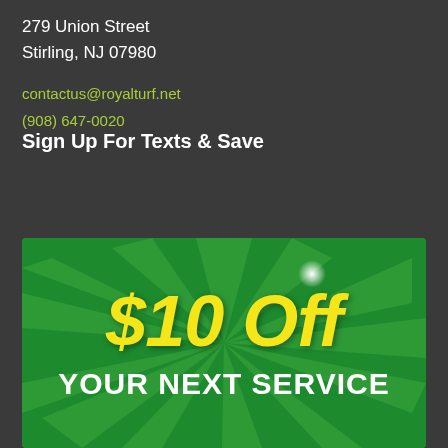279 Union Street
Stirling, NJ 07980
contactus@royalturf.net
(908) 647-0020
Sign Up For Texts & Save
[Figure (illustration): Green promotional coupon banner with starburst rays, yellow italic '$10 Off' text and white bold 'YOUR NEXT SERVICE' text, with a small glowing light effect]